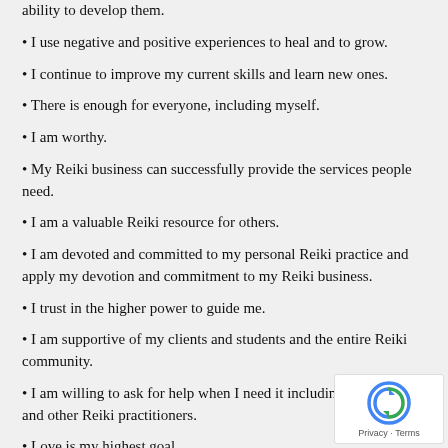ability to develop them.
• I use negative and positive experiences to heal and to grow.
• I continue to improve my current skills and learn new ones.
• There is enough for everyone, including myself.
• I am worthy.
• My Reiki business can successfully provide the services people need.
• I am a valuable Reiki resource for others.
• I am devoted and committed to my personal Reiki practice and apply my devotion and commitment to my Reiki business.
• I trust in the higher power to guide me.
• I am supportive of my clients and students and the entire Reiki community.
• I am willing to ask for help when I need it including from family and other Reiki practitioners.
• Love is my highest goal.
• I am grounded and practical.